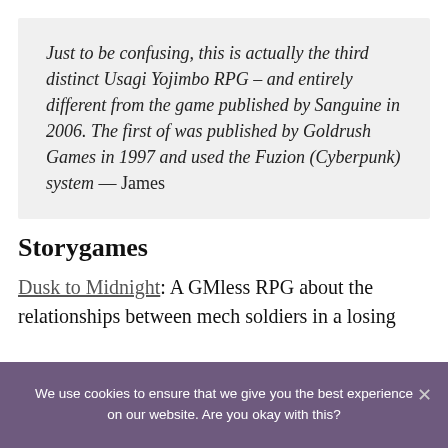Just to be confusing, this is actually the third distinct Usagi Yojimbo RPG – and entirely different from the game published by Sanguine in 2006. The first of was published by Goldrush Games in 1997 and used the Fuzion (Cyberpunk) system — James
Storygames
Dusk to Midnight: A GMless RPG about the relationships between mech soldiers in a losing
We use cookies to ensure that we give you the best experience on our website. Are you okay with this?